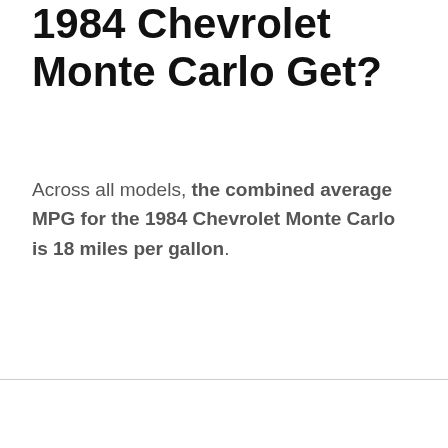1984 Chevrolet Monte Carlo Get?
Across all models, the combined average MPG for the 1984 Chevrolet Monte Carlo is 18 miles per gallon.